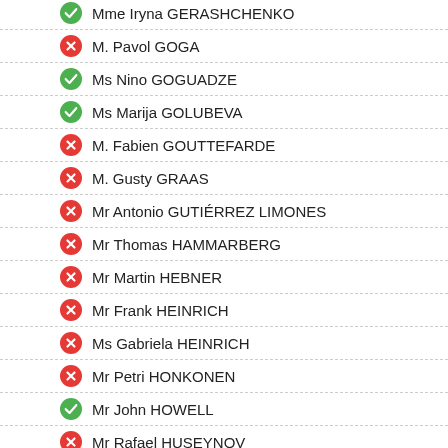Mme Iryna GERASHCHENKO
M. Pavol GOGA
Ms Nino GOGUADZE
Ms Marija GOLUBEVA
M. Fabien GOUTTEFARDE
M. Gusty GRAAS
Mr Antonio GUTIÉRREZ LIMONES
Mr Thomas HAMMARBERG
Mr Martin HEBNER
Mr Frank HEINRICH
Ms Gabriela HEINRICH
Mr Petri HONKONEN
Mr John HOWELL
Mr Rafael HUSEYNOV
Mr Viktor IELENSKYI
Mr Momodou Malcolm JALLOW
Ms Gyde JENSEN